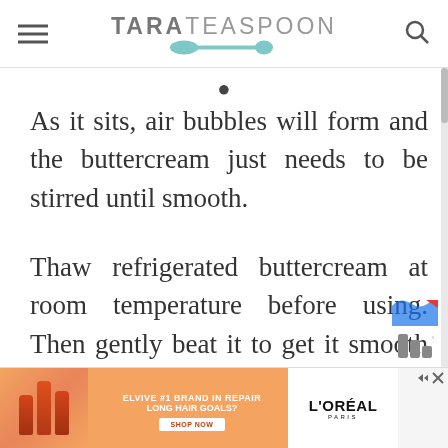TARA TEASPOON
As it sits, air bubbles will form and the buttercream just needs to be stirred until smooth.
Thaw refrigerated buttercream at room temperature before using. Then gently beat it to get it smooth and ready to use.
[Figure (other): Advertisement banner for L'Oreal Elvive hair repair product: 'ELVIVE #1 BRAND IN REPAIR LONG HAIR GOALS? SHOP NOW' with L'OREAL PARIS branding]